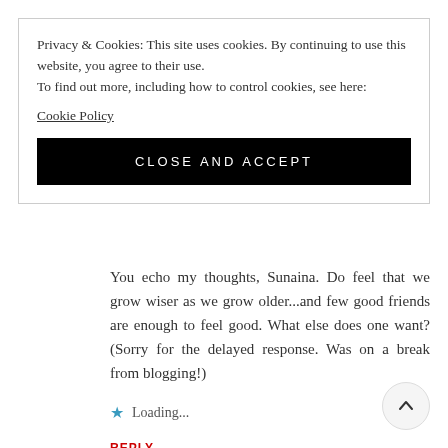Privacy & Cookies: This site uses cookies. By continuing to use this website, you agree to their use.
To find out more, including how to control cookies, see here:
Cookie Policy
CLOSE AND ACCEPT
You echo my thoughts, Sunaina. Do feel that we grow wiser as we grow older...and few good friends are enough to feel good. What else does one want? (Sorry for the delayed response. Was on a break from blogging!)
Loading...
REPLY